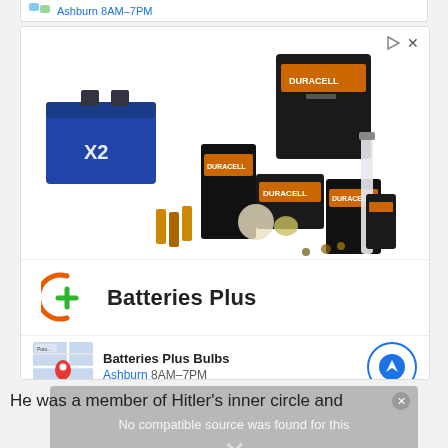[Figure (screenshot): Partial top bar showing Ashburn 8AM-7PM store listing in cyan/blue text]
[Figure (screenshot): Advertisement for Batteries Plus showing Duracell products (batteries, car battery, fluorescent tubes) with Batteries Plus Bulbs store listing showing Ashburn 8AM-7PM location and navigation button]
[Figure (screenshot): Video player overlay with gray background showing 'No compatible source was found for this' message with close X button]
He was a member of Hitler's inner circle and